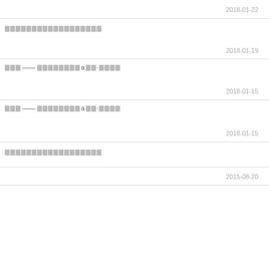2018-01-22
[redacted title]
2018-01-19
[redacted mixed text]
2018-01-15
[redacted mixed text]
2018-01-15
[redacted title]
2015-08-20